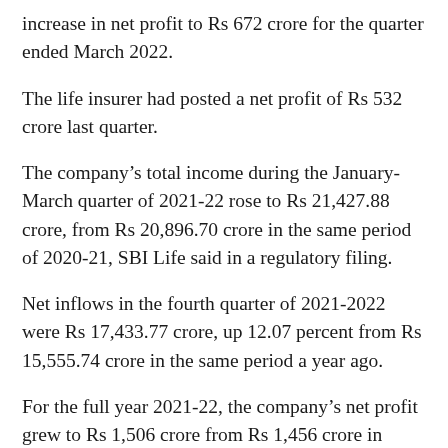increase in net profit to Rs 672 crore for the quarter ended March 2022.
The life insurer had posted a net profit of Rs 532 crore last quarter.
The company’s total income during the January-March quarter of 2021-22 rose to Rs 21,427.88 crore, from Rs 20,896.70 crore in the same period of 2020-21, SBI Life said in a regulatory filing.
Net inflows in the fourth quarter of 2021-2022 were Rs 17,433.77 crore, up 12.07 percent from Rs 15,555.74 crore in the same period a year ago.
For the full year 2021-22, the company’s net profit grew to Rs 1,506 crore from Rs 1,456 crore in 2020-21. Income rose during the year to Rs 83,027.20 crore from Rs